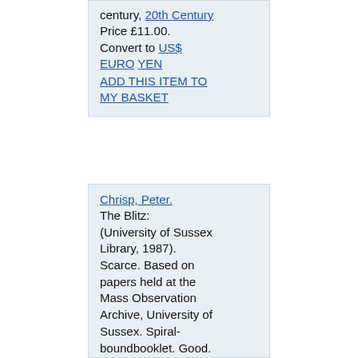century, 20th Century Price £11.00. Convert to US$ EURO YEN ADD THIS ITEM TO MY BASKET
Chrisp, Peter. The Blitz: (University of Sussex Library, 1987). Scarce. Based on papers held at the Mass Observation Archive, University of Sussex. Spiral-boundbooklet. Good. 26pp. Order No. NSBK-A13031 Keywords: 0850870186, Mass Observation, World War Two, World War II, World War 2, Second World War, wars, warfare, twentieth century, 20th Century, Blitz, Mass-Observation, Peter Chrisp, University of Sussex, 1940s, forties...